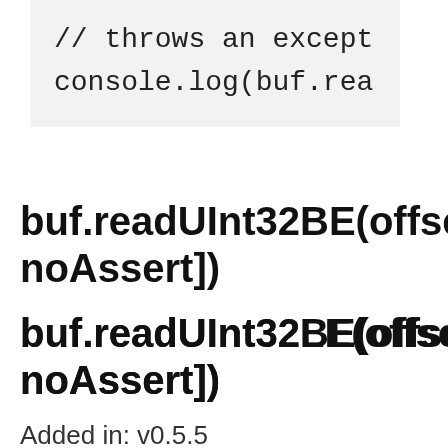// throws an except
console.log(buf.rea
buf.readUInt32BE(offset[#noAssert])
buf.readUInt32LE(offset[#noAssert])
Added in: v0.5.5